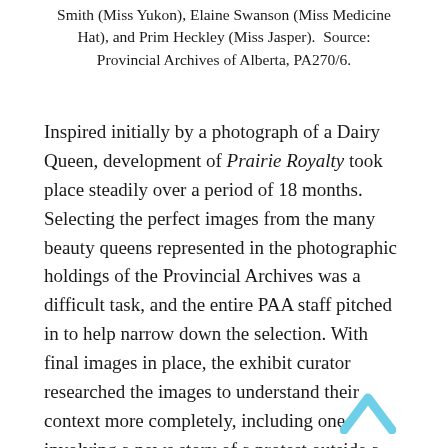Smith (Miss Yukon), Elaine Swanson (Miss Medicine Hat), and Prim Heckley (Miss Jasper).  Source: Provincial Archives of Alberta, PA270/6.
Inspired initially by a photograph of a Dairy Queen, development of Prairie Royalty took place steadily over a period of 18 months. Selecting the perfect images from the many beauty queens represented in the photographic holdings of the Provincial Archives was a difficult task, and the entire PAA staff pitched in to help narrow down the selection. With final images in place, the exhibit curator researched the images to understand their context more completely, including one involving a news story of a protest outside a pageant. Once the research and writing stage was completed, a designer created the perfect visual identity to capture